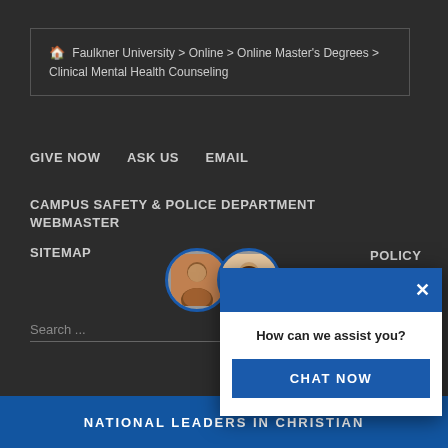Faulkner University > Online > Online Master's Degrees > Clinical Mental Health Counseling
GIVE NOW   ASK US   EMAIL
CAMPUS SAFETY & POLICE DEPARTMENT   WEBMASTER
SITEMAP   POLICY
Search ...
[Figure (screenshot): Chat widget popup with two avatar circles (man and woman), a green online dot, a blue header with close X button, the question 'How can we assist you?' and a 'CHAT NOW' button]
NATIONAL LEADERS IN CHRISTIAN